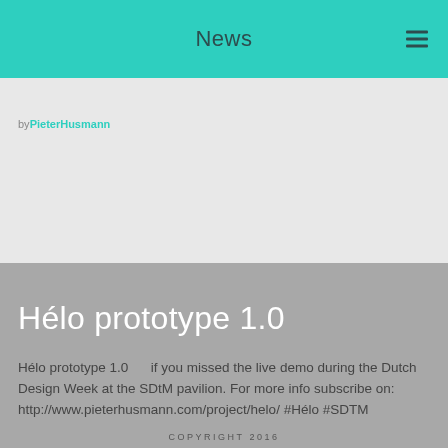News
by PieterHusmann
Hélo prototype 1.0
Hélo prototype 1.0      if you missed the live demo during the Dutch Design Week at the SDtM pavilion. For more info subscribe on: http://www.pieterhusmann.com/project/helo/ #Hélo #SDTM #SmartDesigntoMarket #DDW16 #dutchdesignweek #hearable #hearables #technology #wearable #wearabletech #wearables #wearabletechnology #prototype #prototyping A video posted by Pieter Husmann | Design Studio
COPYRIGHT 2016